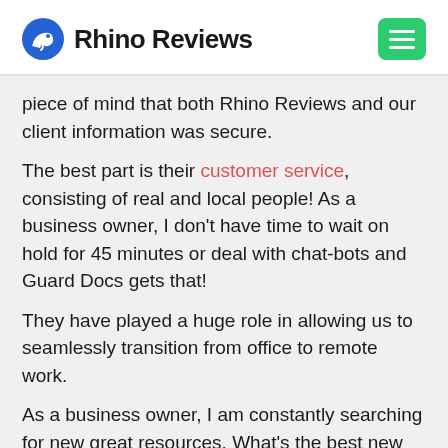Rhino Reviews
piece of mind that both Rhino Reviews and our client information was secure.
The best part is their customer service, consisting of real and local people! As a business owner, I don't have time to wait on hold for 45 minutes or deal with chat-bots and Guard Docs gets that!
They have played a huge role in allowing us to seamlessly transition from office to remote work.
As a business owner, I am constantly searching for new great resources. What's the best new business